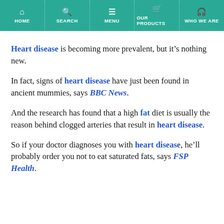HOME | SEARCH | MENU | OUR PRODUCTS | WHO WE ARE
Heart disease is becoming more prevalent, but it’s nothing new.
In fact, signs of heart disease have just been found in ancient mummies, says BBC News.
And the research has found that a high fat diet is usually the reason behind clogged arteries that result in heart disease.
So if your doctor diagnoses you with heart disease, he’ll probably order you not to eat saturated fats, says FSP Health.